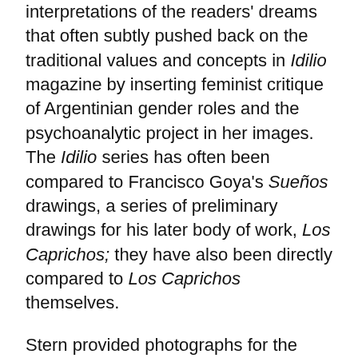interpretations of the readers' dreams that often subtly pushed back on the traditional values and concepts in Idilio magazine by inserting feminist critique of Argentinian gender roles and the psychoanalytic project in her images. The Idilio series has often been compared to Francisco Goya's Sueños drawings, a series of preliminary drawings for his later body of work, Los Caprichos; they have also been directly compared to Los Caprichos themselves.
Stern provided photographs for the magazine and served for a stint as a photography teacher in Resistencia at the National University of the Northeast in 1959 and continued to teach until 1985.
In 1985, she retired from photography, but lived another 14 years until 1999, dying in Buenos Aires on 24 December at the age of 95.